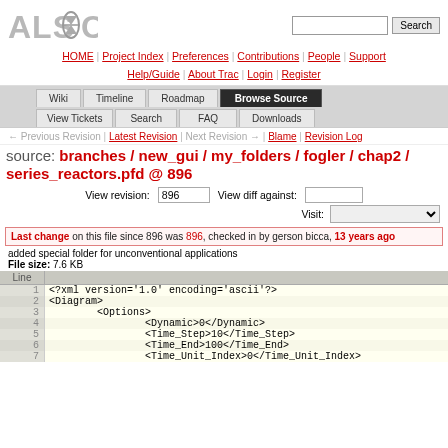[Figure (logo): ALSOC logo in grey metallic text with hourglass icon]
HOME | Project Index | Preferences | Contributions | People | Support | Help/Guide | About Trac | Login | Register
Wiki | Timeline | Roadmap | Browse Source | View Tickets | Search | FAQ | Downloads
← Previous Revision | Latest Revision | Next Revision → | Blame | Revision Log
source: branches / new_gui / my_folders / fogler / chap2 / series_reactors.pfd @ 896
View revision: 896   View diff against:   Visit:
Last change on this file since 896 was 896, checked in by gerson bicca, 13 years ago
added special folder for unconventional applications
File size: 7.6 KB
| Line |  |
| --- | --- |
| 1 | <?xml version='1.0' encoding='ascii'?> |
| 2 | <Diagram> |
| 3 |         <Options> |
| 4 |                 <Dynamic>0</Dynamic> |
| 5 |                 <Time_Step>10</Time_Step> |
| 6 |                 <Time_End>100</Time_End> |
| 7 |                 <Time_Unit_Index>0</Time_Unit_Index> |